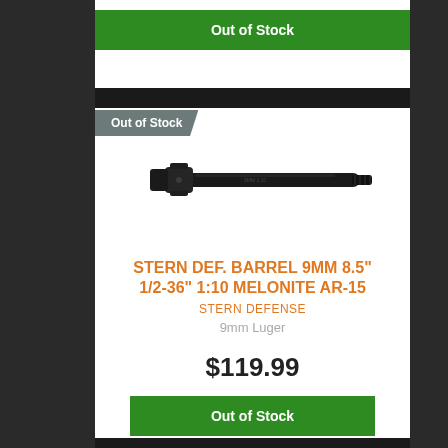Out of Stock
[Figure (photo): Black rifle barrel - Stern Defense 9mm 8.5 inch barrel with muzzle threads, shown horizontally against white background]
STERN DEF. BARREL 9MM 8.5" 1/2-36" 1:10 MELONITE AR-15
STERN DEFENSE
9mm Luger
$119.99
Out of Stock